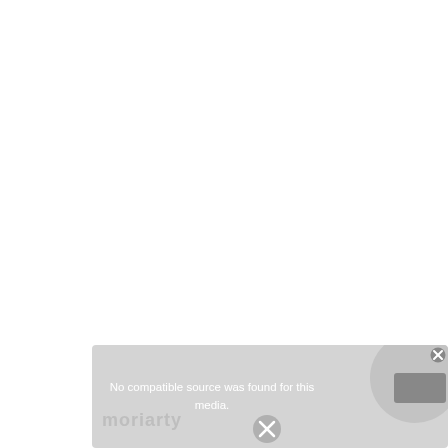[Figure (screenshot): Media player error overlay on a mostly white page. The lower portion shows a light gray panel with the message 'No compatible source was found for this media.' overlaid on a video player interface. A close button (X) appears in the top-right corner of the panel. A large circle and a rectangular gray button are visible on the right side. Faint watermark text and an X icon appear at the bottom.]